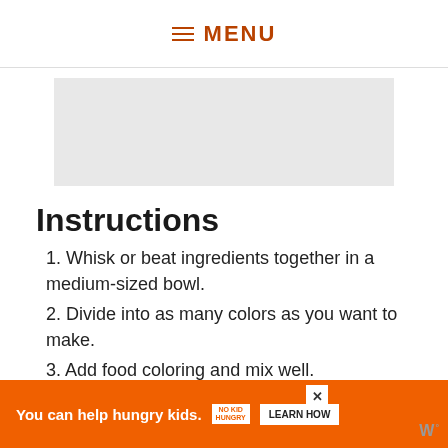≡ MENU
[Figure (photo): Gray image placeholder for a recipe photo]
Instructions
1. Whisk or beat ingredients together in a medium-sized bowl.
2. Divide into as many colors as you want to make.
3. Add food coloring and mix well.
4. Put the icing into squeeze bulb dispensers with Wilton's brand #2 tip.
5. Decorate cookies as desired and while the icing is still wet, add sprinkles to your heart's
You can help hungry kids. NO KID HUNGRY LEARN HOW